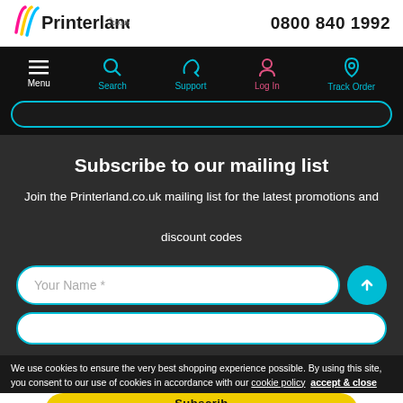[Figure (logo): Printerland.co.uk logo with colorful swoosh marks]
0800 840 1992
[Figure (screenshot): Navigation bar with Menu, Search, Support, Log In, Track Order icons on black background]
Subscribe to our mailing list
Join the Printerland.co.uk mailing list for the latest promotions and discount codes
Your Name *
We use cookies to ensure the very best shopping experience possible. By using this site, you consent to our use of cookies in accordance with our cookie policy  accept & close